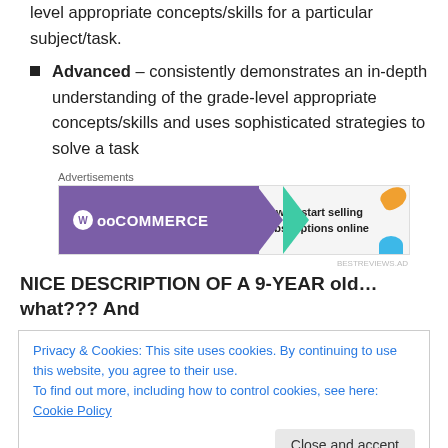level appropriate concepts/skills for a particular subject/task.
Advanced – consistently demonstrates an in-depth understanding of the grade-level appropriate concepts/skills and uses sophisticated strategies to solve a task
[Figure (other): WooCommerce advertisement banner: 'How to start selling subscriptions online']
NICE DESCRIPTION OF A 9-YEAR old…what??? And
Privacy & Cookies: This site uses cookies. By continuing to use this website, you agree to their use. To find out more, including how to control cookies, see here: Cookie Policy
Close and accept